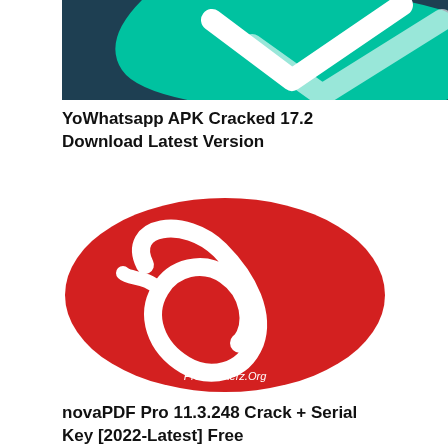[Figure (illustration): Partial view of YoWhatsapp APK logo — teal/dark blue background with a white chat bubble and checkmarks icon, cropped at top]
YoWhatsapp APK Cracked 17.2 Download Latest Version
[Figure (logo): Red oval logo with a white stylized number or letter design and text 'ProCrackerz.Org' at the bottom in white italic text]
novaPDF Pro 11.3.248 Crack + Serial Key [2022-Latest] Free